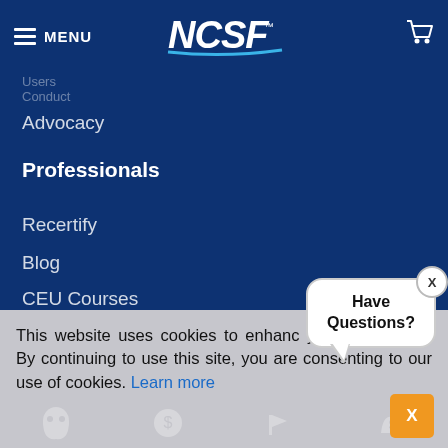NCSF - MENU navigation header
Advocacy
Professionals
Recertify
Blog
CEU Courses
Trainer App
Career Center
Membership
Partner With Us
This website uses cookies to enhance your experience. By continuing to use this site, you are consenting to our use of cookies. Learn more
[Figure (illustration): Chat bubble with 'Have Questions?' text and close X button, plus orange X close button for cookie bar]